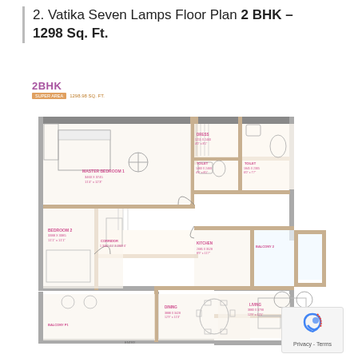2. Vatika Seven Lamps Floor Plan 2 BHK – 1298 Sq. Ft.
[Figure (engineering-diagram): 2BHK floor plan for Vatika Seven Lamps, 1298 sq. ft., showing Master Bedroom 1, Bedroom 2, Kitchen, Dining, Living, two Toilets, two Balconies, and Corridor with room dimensions labeled.]